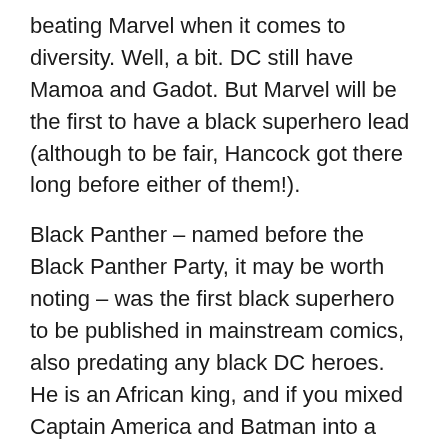beating Marvel when it comes to diversity. Well, a bit. DC still have Mamoa and Gadot. But Marvel will be the first to have a black superhero lead (although to be fair, Hancock got there long before either of them!).
Black Panther – named before the Black Panther Party, it may be worth noting – was the first black superhero to be published in mainstream comics, also predating any black DC heroes. He is an African king, and if you mixed Captain America and Batman into a mystical, panther-costumed human stew, you'd get Black Panther.
Marvel also released concept art for Black Panther, which is very close to his depiction in the comics, minus the cape. It's also pretty good looking.
Infinity War